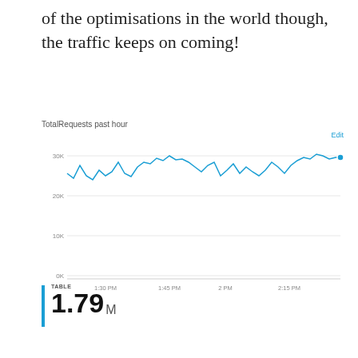of the optimisations in the world though, the traffic keeps on coming!
[Figure (continuous-plot): Line chart showing TotalRequests over the past hour, ranging from approximately 1:15 PM to 2:20 PM. The line fluctuates around 30K requests with minor ups and downs throughout.]
TABLE 1.79 M